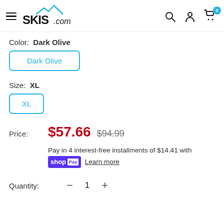[Figure (logo): SKIS.com logo with mountain graphic and navigation icons including search, account, and cart with 0 badge]
Color:  Dark Olive
Dark Olive
Size:  XL
XL
Price:  $57.66  $94.99
Pay in 4 interest-free installments of $14.41 with shop Pay  Learn more
Quantity:  −  1  +